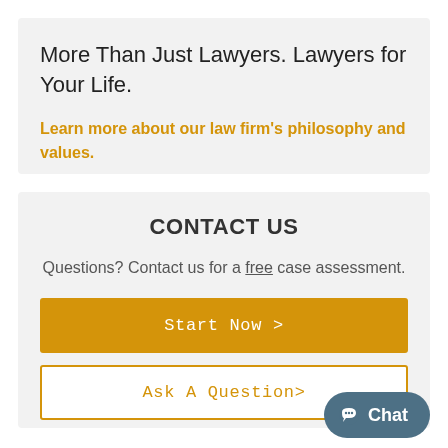More Than Just Lawyers. Lawyers for Your Life.
Learn more about our law firm's philosophy and values.
CONTACT US
Questions? Contact us for a free case assessment.
Start Now >
Ask A Question>